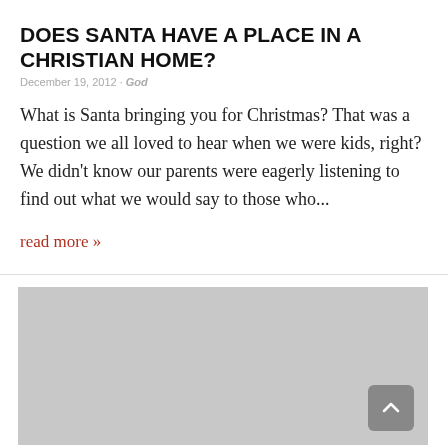DOES SANTA HAVE A PLACE IN A CHRISTIAN HOME?
December 19, 2012 · God
What is Santa bringing you for Christmas? That was a question we all loved to hear when we were kids, right? We didn't know our parents were eagerly listening to find out what we would say to those who...
read more »
[Figure (photo): Gray placeholder image block at bottom of page with a back-to-top arrow button in the lower right corner]